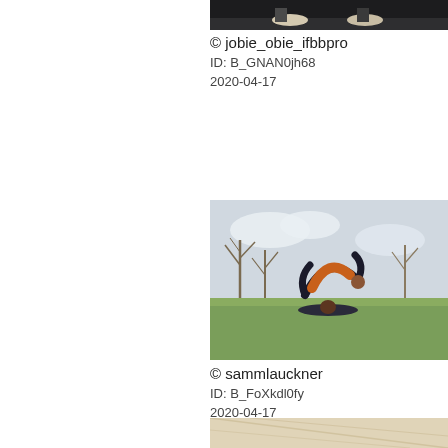[Figure (photo): Cropped photo of person's legs/feet walking on a road, dark background, wearing light sneakers]
© jobie_obie_ifbbpro
ID: B_GNAN0jh68
2020-04-17
[Figure (photo): Two people performing an acrobatic yoga pose outdoors on grass. One person lying on ground supports the other person who is balanced overhead with body arched. Bare trees in background under cloudy sky.]
© sammlauckner
ID: B_FoXkdl0fy
2020-04-17
[Figure (photo): Partial view of a third photo at bottom, appears to show a light wooden or geometric surface, cropped]